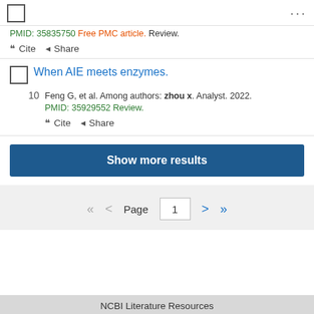PMID: 35835750 Free PMC article. Review.
Cite   Share
When AIE meets enzymes.
Feng G, et al. Among authors: zhou x. Analyst. 2022. PMID: 35929552 Review.
Cite   Share
Show more results
Page 1
NCBI Literature Resources